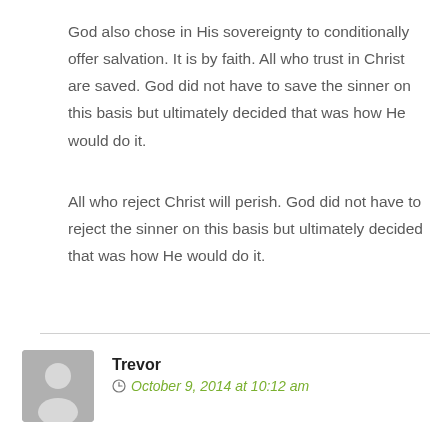God also chose in His sovereignty to conditionally offer salvation. It is by faith. All who trust in Christ are saved. God did not have to save the sinner on this basis but ultimately decided that was how He would do it.
All who reject Christ will perish. God did not have to reject the sinner on this basis but ultimately decided that was how He would do it.
Trevor
October 9, 2014 at 10:12 am